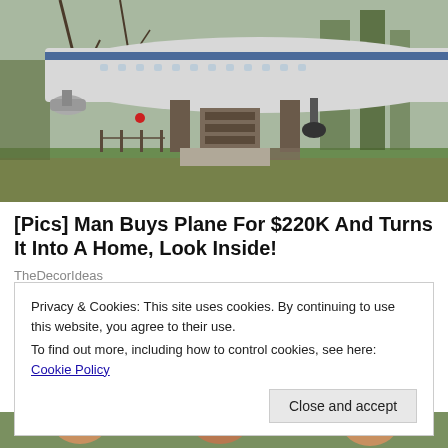[Figure (photo): A retired commercial airplane resting on supports in a wooded yard, surrounded by trees and autumn leaves on grass. The fuselage is white with a blue stripe. Various items and debris are visible underneath.]
[Pics] Man Buys Plane For $220K And Turns It Into A Home, Look Inside!
TheDecorIdeas
Privacy & Cookies: This site uses cookies. By continuing to use this website, you agree to their use.
To find out more, including how to control cookies, see here: Cookie Policy
[Figure (photo): Partial view of people's faces at the bottom of the page, cropped.]